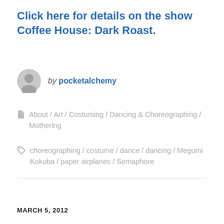Click here for details on the show Coffee House: Dark Roast.
by pocketalchemy
About / Art / Costuming / Dancing & Choreographing / Mothering
choreographing / costume / dance / dancing / Megumi Kokuba / paper airplanes / Semaphore
MARCH 5, 2012